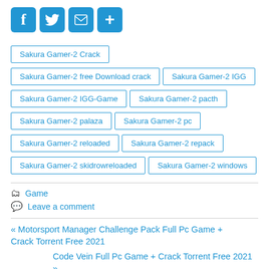[Figure (other): Social sharing icons row: Facebook (f), Twitter (bird), Email (envelope), Share (+) — blue rounded square buttons]
Sakura Gamer-2 Crack
Sakura Gamer-2 free Download crack
Sakura Gamer-2 IGG
Sakura Gamer-2 IGG-Game
Sakura Gamer-2 pacth
Sakura Gamer-2 palaza
Sakura Gamer-2 pc
Sakura Gamer-2 reloaded
Sakura Gamer-2 repack
Sakura Gamer-2 skidrowreloaded
Sakura Gamer-2 windows
Game
Leave a comment
« Motorsport Manager Challenge Pack Full Pc Game + Crack Torrent Free 2021
Code Vein Full Pc Game + Crack Torrent Free 2021 »